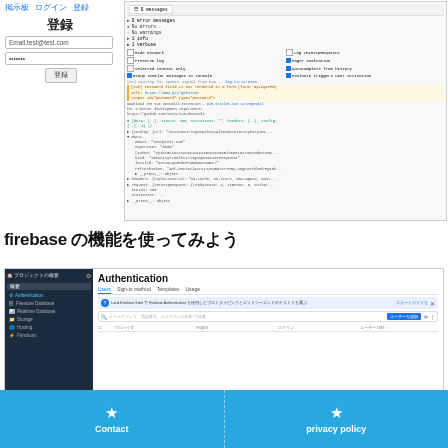掲示板 ログイン 登録
登録
Email:test@test.com Password:******* 登録
[Figure (screenshot): Chrome DevTools console showing network messages, warnings, and JSON response data from a signup API call]
firebase の機能を使ってみよう
[Figure (screenshot): Firebase Authentication console showing Users tab with sidebar navigation including Authentication, Firestore Database, Realtime Database, Storage, Hosting, Functions]
Contact | privacy policy